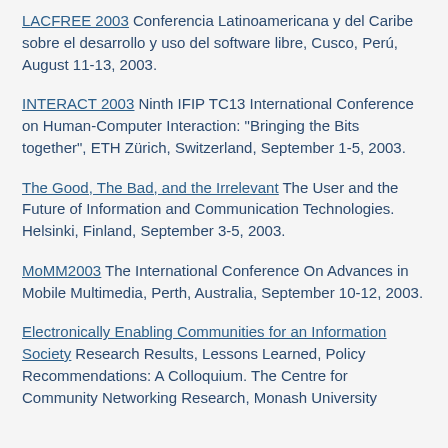LACFREE 2003 Conferencia Latinoamericana y del Caribe sobre el desarrollo y uso del software libre, Cusco, Perú, August 11-13, 2003.
INTERACT 2003 Ninth IFIP TC13 International Conference on Human-Computer Interaction: "Bringing the Bits together", ETH Zürich, Switzerland, September 1-5, 2003.
The Good, The Bad, and the Irrelevant The User and the Future of Information and Communication Technologies. Helsinki, Finland, September 3-5, 2003.
MoMM2003 The International Conference On Advances in Mobile Multimedia, Perth, Australia, September 10-12, 2003.
Electronically Enabling Communities for an Information Society Research Results, Lessons Learned, Policy Recommendations: A Colloquium. The Centre for Community Networking Research, Monash University...